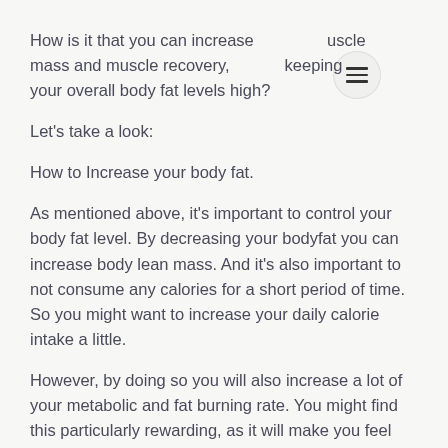How is it that you can increase muscle mass and muscle recovery, while keeping your overall body fat levels high?
Let's take a look:
How to Increase your body fat.
As mentioned above, it's important to control your body fat level. By decreasing your bodyfat you can increase body lean mass. And it's also important to not consume any calories for a short period of time. So you might want to increase your daily calorie intake a little.
However, by doing so you will also increase a lot of your metabolic and fat burning rate. You might find this particularly rewarding, as it will make you feel like you can use better fuel and less